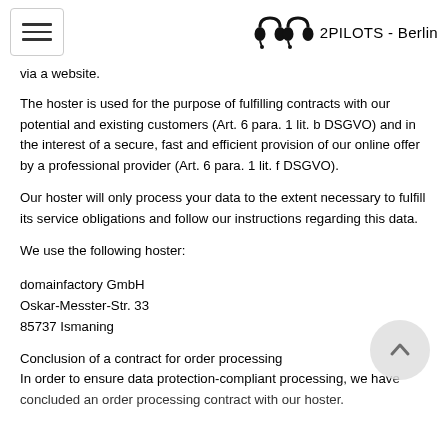2PILOTS - Berlin
via a website.
The hoster is used for the purpose of fulfilling contracts with our potential and existing customers (Art. 6 para. 1 lit. b DSGVO) and in the interest of a secure, fast and efficient provision of our online offer by a professional provider (Art. 6 para. 1 lit. f DSGVO).
Our hoster will only process your data to the extent necessary to fulfill its service obligations and follow our instructions regarding this data.
We use the following hoster:
domainfactory GmbH
Oskar-Messter-Str. 33
85737 Ismaning
Conclusion of a contract for order processing
In order to ensure data protection-compliant processing, we have concluded an order processing contract with our hoster.